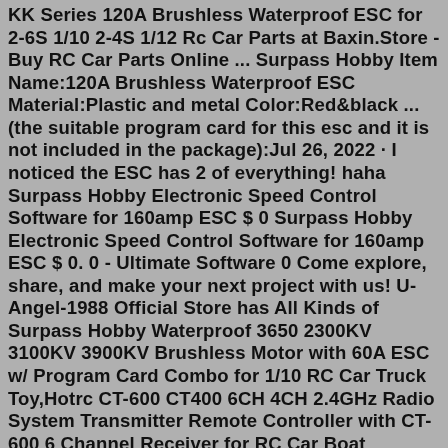KK Series 120A Brushless Waterproof ESC for 2-6S 1/10 2-4S 1/12 Rc Car Parts at Baxin.Store - Buy RC Car Parts Online ... Surpass Hobby Item Name:120A Brushless Waterproof ESC Material:Plastic and metal Color:Red&black ... (the suitable program card for this esc and it is not included in the package):Jul 26, 2022 · I noticed the ESC has 2 of everything! haha Surpass Hobby Electronic Speed Control Software for 160amp ESC $ 0 Surpass Hobby Electronic Speed Control Software for 160amp ESC $ 0. 0 - Ultimate Software 0 Come explore, share, and make your next project with us! U-Angel-1988 Official Store has All Kinds of Surpass Hobby Waterproof 3650 2300KV 3100KV 3900KV Brushless Motor with 60A ESC w/ Program Card Combo for 1/10 RC Car Truck Toy,Hotrc CT-600 CT400 6CH 4CH 2.4GHz Radio System Transmitter Remote Controller with CT-600 6 Channel Receiver for RC Car Boat Tank,Micro USB to AV Out Cable for SJ4000 SJ5000 SJ6000 GOPRO Camera FPV Video Audio Transmitter ...Shop best Surpass Hobby ROCKET 540 PLUS V2 Brushed